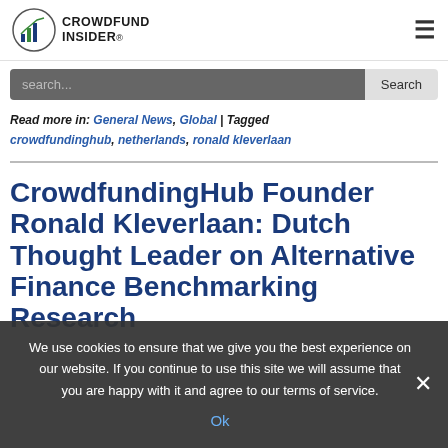CROWDFUND INSIDER
search...
Read more in: General News, Global | Tagged crowdfundinghub, netherlands, ronald kleverlaan
CrowdfundingHub Founder Ronald Kleverlaan: Dutch Thought Leader on Alternative Finance Benchmarking Research
We use cookies to ensure that we give you the best experience on our website. If you continue to use this site we will assume that you are happy with it and agree to our terms of service.